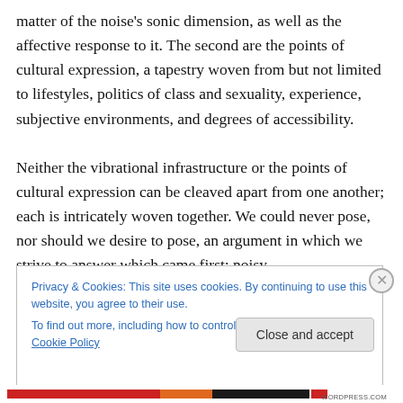matter of the noise's sonic dimension, as well as the affective response to it. The second are the points of cultural expression, a tapestry woven from but not limited to lifestyles, politics of class and sexuality, experience, subjective environments, and degrees of accessibility.

Neither the vibrational infrastructure or the points of cultural expression can be cleaved apart from one another; each is intricately woven together. We could never pose, nor should we desire to pose, an argument in which we strive to answer which came first: noisy
Privacy & Cookies: This site uses cookies. By continuing to use this website, you agree to their use.
To find out more, including how to control cookies, see here: Cookie Policy
Close and accept